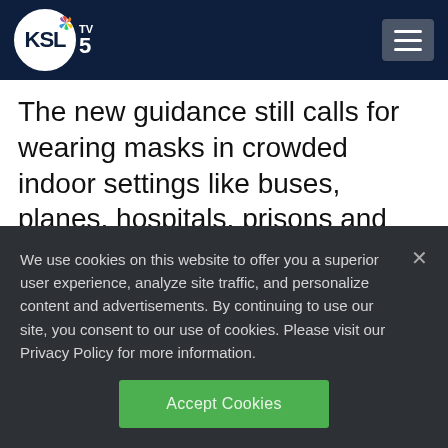KSL TV 5
The new guidance still calls for wearing masks in crowded indoor settings like buses, planes, hospitals, prisons and homeless shelters, but will help clear the way for reopening workplaces, schools, and other venues — even removing the need for
We use cookies on this website to offer you a superior user experience, analyze site traffic, and personalize content and advertisements. By continuing to use our site, you consent to our use of cookies. Please visit our Privacy Policy for more information.
Accept Cookies